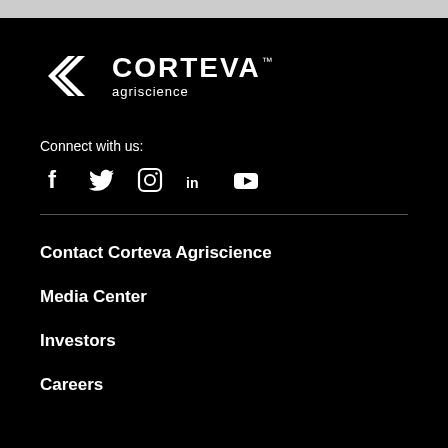[Figure (logo): Corteva Agriscience logo — white icon with stylized wheat/arrows on black background, with CORTEVA™ wordmark and 'agriscience' subtitle]
Connect with us:
[Figure (infographic): Social media icons: Facebook, Twitter, Instagram, LinkedIn, YouTube — white icons on black background]
Contact Corteva Agriscience
Media Center
Investors
Careers